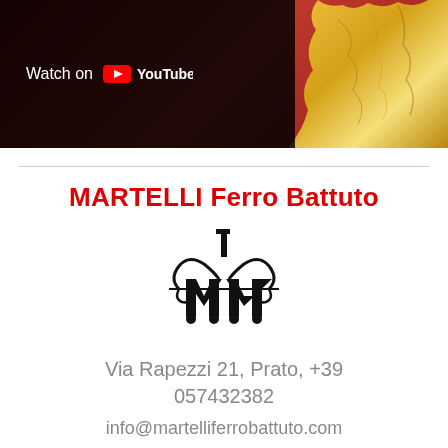[Figure (screenshot): YouTube video thumbnail showing a red background with gold decorative metalwork and a 'Watch on YouTube' overlay bar on the left]
MARTELLI Ferro Battuto
[Figure (logo): Decorative black logo with stylized letter M and ornamental scrollwork with the number 1]
Via Rapezzi 21, Prato, +39 057432382
info@martelliferrobattuto.com
Frame design WROUGHT